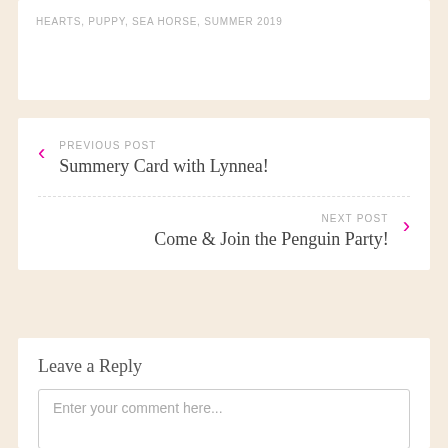HEARTS, PUPPY, SEA HORSE, SUMMER 2019
PREVIOUS POST
Summery Card with Lynnea!
NEXT POST
Come & Join the Penguin Party!
Leave a Reply
Enter your comment here...